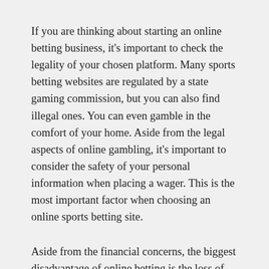If you are thinking about starting an online betting business, it's important to check the legality of your chosen platform. Many sports betting websites are regulated by a state gaming commission, but you can also find illegal ones. You can even gamble in the comfort of your home. Aside from the legal aspects of online gambling, it's important to consider the safety of your personal information when placing a wager. This is the most important factor when choosing an online sports betting site.
Aside from the financial concerns, the biggest disadvantage of online betting is the loss of potential revenue for the state. New York residents who want to place a bet can use illegal offshore books to place their bets. However, the state's lawmakers are attempting to address these problems by introducing new laws that will regulate internet betting. While